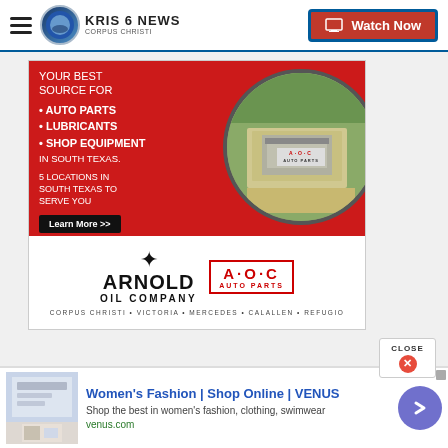KRIS 6 NEWS CORPUS CHRISTI | Watch Now
[Figure (illustration): Arnold Oil Company / AOC Auto Parts advertisement. Red background with aerial photo of building in circle. Text: YOUR BEST SOURCE FOR • AUTO PARTS • LUBRICANTS • SHOP EQUIPMENT IN SOUTH TEXAS. 5 LOCATIONS IN SOUTH TEXAS TO SERVE YOU. Learn More >>. Bottom white area shows Arnold Oil Company and A·O·C Auto Parts logos. Locations: CORPUS CHRISTI • VICTORIA • MERCEDES • CALALLEN • REFUGIO]
[Figure (screenshot): Bottom ad bar: Women's Fashion | Shop Online | VENUS. Shop the best in women's fashion, clothing, swimwear. venus.com]